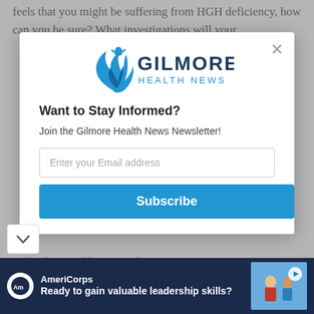feels that you might be suffering from HGH deficiency, how can you be sure? What investigations will your
[Figure (screenshot): Gilmore Health News newsletter signup modal dialog with logo, heading 'Want to Stay Informed?', subtext 'Join the Gilmore Health News Newsletter!', email input field, and Subscribe button]
to the Gilmore Health Privacy Policy. By entering our site you
[Figure (screenshot): AmeriCorps advertisement banner: 'Ready to gain valuable leadership skills?' with logo and image of people]